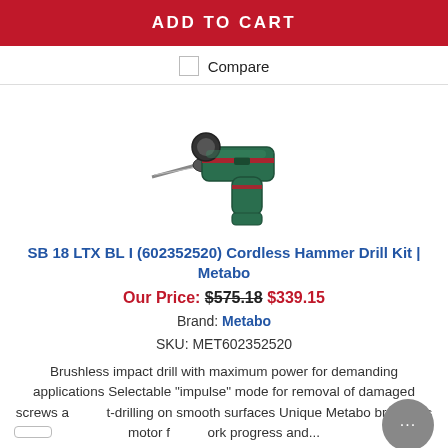ADD TO CART
Compare
[Figure (photo): Image of a Metabo SB 18 LTX BL I cordless hammer drill with drill bit attached, shown at an angle on white background.]
SB 18 LTX BL I (602352520) Cordless Hammer Drill Kit | Metabo
Our Price: $575.18 $339.15
Brand: Metabo
SKU: MET602352520
Brushless impact drill with maximum power for demanding applications Selectable "impulse" mode for removal of damaged screws and spot-drilling on smooth surfaces Unique Metabo brushless motor for work progress and...